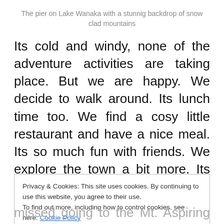The pier on Lake Wanaka with a stunnig backdrop of snow clad mountains
Its cold and windy, none of the adventure activities are taking place. But we are happy. We decide to walk around. Its lunch time too. We find a cosy little restaurant and have a nice meal. Its so much fun with friends. We explore the town a bit more. Its time to head back to Queenstown since night falls early here. The kids, tired and full after a heavy lunch fall
Privacy & Cookies: This site uses cookies. By continuing to use this website, you agree to their use.
To find out more, including how to control cookies, see here: Cookie Policy
missed going to the Mt. Aspiring National Park